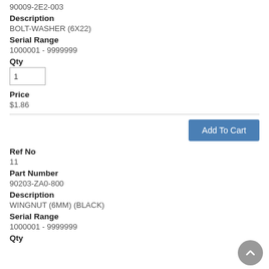90009-2E2-003
Description
BOLT-WASHER (6X22)
Serial Range
1000001 - 9999999
Qty
1
Price
$1.86
Add To Cart
Ref No
11
Part Number
90203-ZA0-800
Description
WINGNUT (6MM) (BLACK)
Serial Range
1000001 - 9999999
Qty